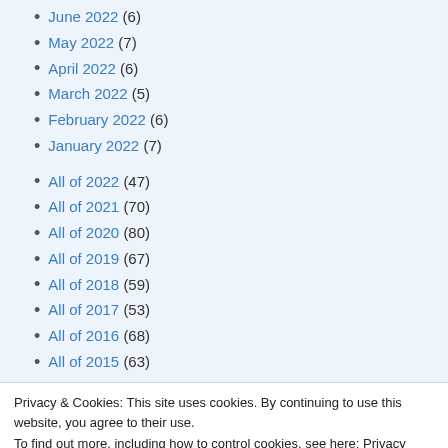June 2022 (6)
May 2022 (7)
April 2022 (6)
March 2022 (5)
February 2022 (6)
January 2022 (7)
All of 2022 (47)
All of 2021 (70)
All of 2020 (80)
All of 2019 (67)
All of 2018 (59)
All of 2017 (53)
All of 2016 (68)
All of 2015 (63)
All of 2014 (42)
All of 2013 (34)
Privacy & Cookies: This site uses cookies. By continuing to use this website, you agree to their use.
To find out more, including how to control cookies, see here: Privacy Policy
All of 2007 (48)